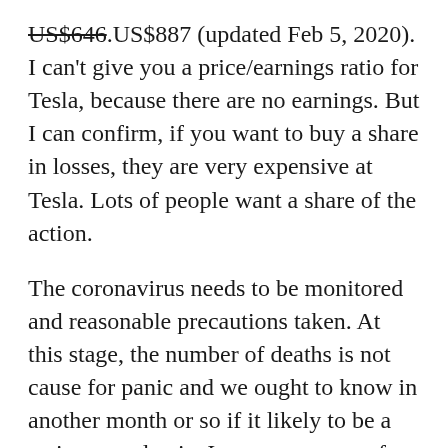US$646.US$887 (updated Feb 5, 2020). I can't give you a price/earnings ratio for Tesla, because there are no earnings. But I can confirm, if you want to buy a share in losses, they are very expensive at Tesla. Lots of people want a share of the action.
The coronavirus needs to be monitored and reasonable precautions taken. At this stage, the number of deaths is not cause for panic and we ought to know in another month or so if it likely to be a serious pandemic. I am more wary of bacterial resistance than virus pandemics as a threat to world health.
I am more wary of this the US Hoover of D...